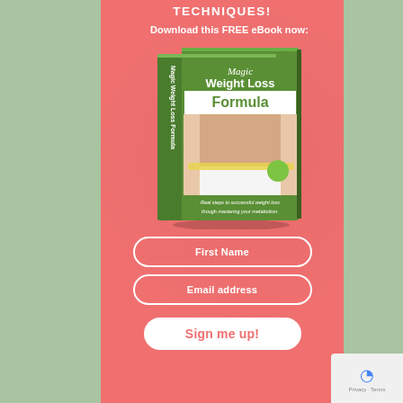TECHNIQUES!
Download this FREE eBook now:
[Figure (illustration): Book cover of 'Magic Weight Loss Formula' showing a person holding a measuring tape around waist and an apple, with green and white design. Spine reads 'Magic Weight Loss Formula'. Bottom text: 'Real steps to successful weight loss though mastering your metabolism.']
First Name
Email address
Sign me up!